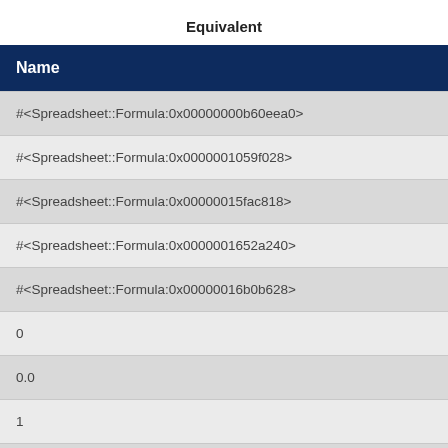Equivalent
| Name |
| --- |
| #<Spreadsheet::Formula:0x00000000b60eea0> |
| #<Spreadsheet::Formula:0x0000001059f028> |
| #<Spreadsheet::Formula:0x00000015fac818> |
| #<Spreadsheet::Formula:0x0000001652a240> |
| #<Spreadsheet::Formula:0x00000016b0b628> |
| 0 |
| 0.0 |
| 1 |
|  |